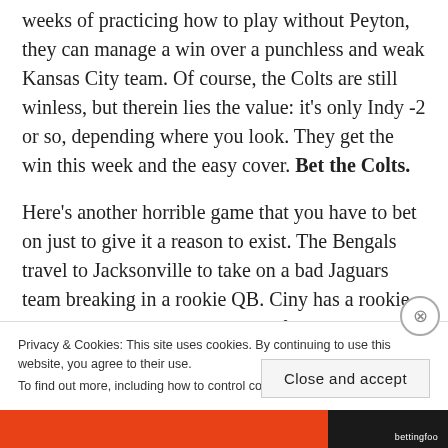weeks of practicing how to play without Peyton, they can manage a win over a punchless and weak Kansas City team. Of course, the Colts are still winless, but therein lies the value: it's only Indy -2 or so, depending where you look. They get the win this week and the easy cover. Bet the Colts.
Here's another horrible game that you have to bet on just to give it a reason to exist. The Bengals travel to Jacksonville to take on a bad Jaguars team breaking in a rookie QB. Ciny has a rookie QB but he's been damn good so far and has an explosive fellow rookie at WR. The Jags defense is decent, but the Bengals is
Privacy & Cookies: This site uses cookies. By continuing to use this website, you agree to their use.
To find out more, including how to control cookies, see here: Cookie Policy
Close and accept